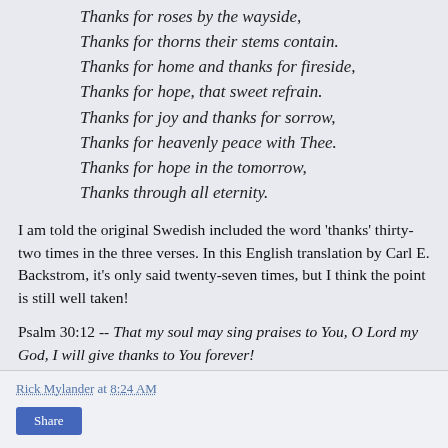Thanks for roses by the wayside,
Thanks for thorns their stems contain.
Thanks for home and thanks for fireside,
Thanks for hope, that sweet refrain.
Thanks for joy and thanks for sorrow,
Thanks for heavenly peace with Thee.
Thanks for hope in the tomorrow,
Thanks through all eternity.
I am told the original Swedish included the word 'thanks' thirty-two times in the three verses. In this English translation by Carl E. Backstrom, it's only said twenty-seven times, but I think the point is still well taken!
Psalm 30:12 -- That my soul may sing praises to You, O Lord my God, I will give thanks to You forever!
-- RGM, November 19, 2015
Rick Mylander at 8:24 AM